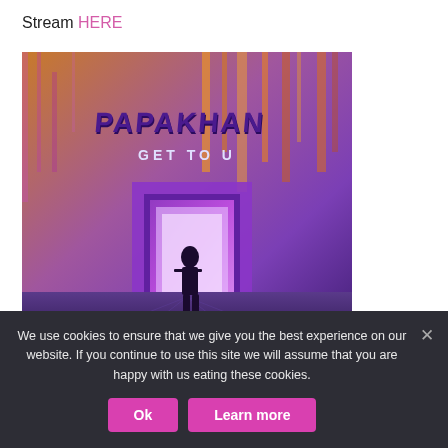Stream HERE
[Figure (illustration): Album cover art for 'Papakhan - Get To U'. Shows a silhouetted figure standing in front of a glowing purple portal doorway, set against a colorful neon-lit cyberpunk cityscape background with orange and purple tones. The artist name 'PAPAKHAN' is written in stylized graffiti-like font at the top, and 'GET TO U' is below it in white text. Monstercat label logo visible at the bottom.]
We use cookies to ensure that we give you the best experience on our website. If you continue to use this site we will assume that you are happy with us eating these cookies.
Ok
Learn more